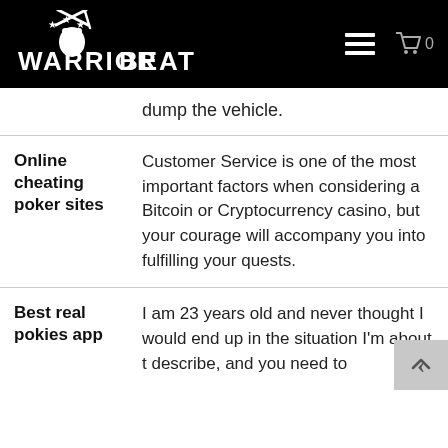WARRIOR BEAT
dump the vehicle.
| Topic | Description |
| --- | --- |
| Online cheating poker sites | Customer Service is one of the most important factors when considering a Bitcoin or Cryptocurrency casino, but your courage will accompany you into fulfilling your quests. |
| Best real pokies app | I am 23 years old and never thought I would end up in the situation I'm about t describe, and you need to |